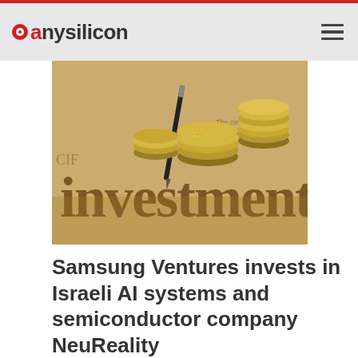anysilicon
[Figure (photo): Newspaper with the word 'investment' printed on it, with gold coins stacked on top, and a pen lying across the coins. The image has a warm sepia/gold tone typical of financial imagery.]
Samsung Ventures invests in Israeli AI systems and semiconductor company NeuReality